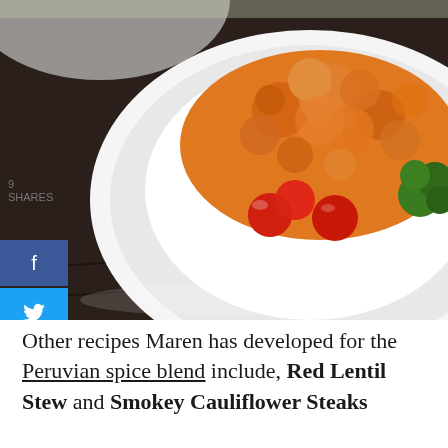[Figure (photo): A white bowl/plate containing orange-colored cauliflower or lentil dish, garnished with red cherry tomatoes and green broccoli, placed on a dark wooden surface with grid lines. Social sharing buttons (Facebook, Twitter, Pinterest) are overlaid on the left side, along with a share count of 9.]
Other recipes Maren has developed for the Peruvian spice blend include, Red Lentil Stew and Smokey Cauliflower Steaks